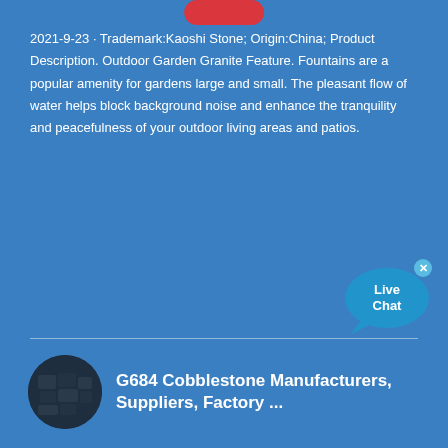2021-9-23 · Trademark:Kaoshi Stone; Origin:China; Product Description. Outdoor Garden Granite Feature. Fountains are a popular amenity for gardens large and small. The pleasant flow of water helps block background noise and enhance the tranquility and peacefulness of your outdoor living areas and patios.
[Figure (illustration): Live Chat bubble icon with close button]
G684 Cobblestone Manufacturers, Suppliers, Factory ...
[Figure (photo): Product thumbnail image of cobblestone/stone products]
Send a message to us
Our Granite Cubestone, Granite Paving Stone, Granite Cobblestone, Granite Setts are available in various different colors: Grey, Red, black, white, yellow paving stone. And we